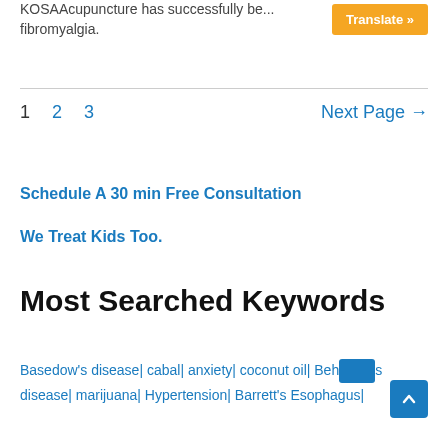KOSAAcupuncture has successfully be... fibromyalgia.
1  2  3  Next Page →
Schedule A 30 min Free Consultation
We Treat Kids Too.
Most Searched Keywords
Basedow's disease| cabal| anxiety| coconut oil| Beh...s disease| marijuana| Hypertension| Barrett's Esophagus|